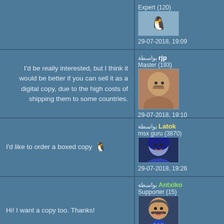Expert (120)
19:09 ,29-07-2018
I'd be really interested, but I think it would be better if you can sell it as a digital copy, due to the high costs of shipping them to some countries.
بواسطة rjp
Master (193)
29-07-2018, 19:10
🐧 I'd like to order a boxed copy
بواسطة Latok
msx guru (3870)
29-07-2018, 19:26
Hi! I want a copy too. Thanks!
بواسطة Antxiko
Supporter (15)
29-07-2018, 19:59
🐧 I want a copy too
بواسطة Pablibiris